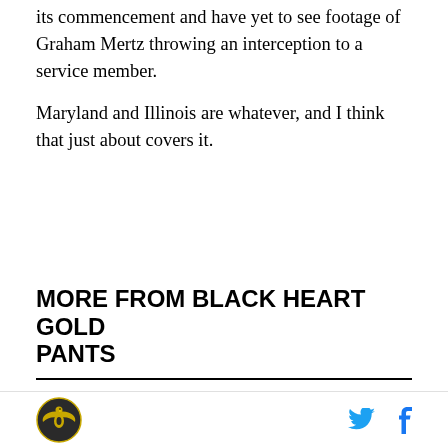its commencement and have yet to see footage of Graham Mertz throwing an interception to a service member.

Maryland and Illinois are whatever, and I think that just about covers it.
MORE FROM BLACK HEART GOLD PANTS
College Football Watch Guide - Week 0
BOILERHONK'S 2022 GAMBLING GUIDE WITH WEEK 0 PONKS
Big ten football...
Black Heart Gold Pants logo, Twitter icon, Facebook icon